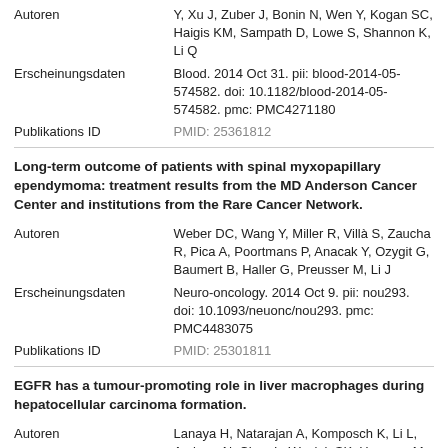| Label | Value |
| --- | --- |
| Autoren | Y, Xu J, Zuber J, Bonin N, Wen Y, Kogan SC, Haigis KM, Sampath D, Lowe S, Shannon K, Li Q |
| Erscheinungsdaten | Blood. 2014 Oct 31. pii: blood-2014-05-574582. doi: 10.1182/blood-2014-05-574582. pmc: PMC4271180 |
| Publikations ID | PMID: 25361812 |
Long-term outcome of patients with spinal myxopapillary ependymoma: treatment results from the MD Anderson Cancer Center and institutions from the Rare Cancer Network.
| Label | Value |
| --- | --- |
| Autoren | Weber DC, Wang Y, Miller R, Villà S, Zaucha R, Pica A, Poortmans P, Anacak Y, Ozygit G, Baumert B, Haller G, Preusser M, Li J |
| Erscheinungsdaten | Neuro-oncology. 2014 Oct 9. pii: nou293. doi: 10.1093/neuonc/nou293. pmc: PMC4483075 |
| Publikations ID | PMID: 25301811 |
EGFR has a tumour-promoting role in liver macrophages during hepatocellular carcinoma formation.
| Label | Value |
| --- | --- |
| Autoren | Lanaya H, Natarajan A, Komposch K, Li L, Amberg N, Chen L, Wculek SK, Hammer M, |